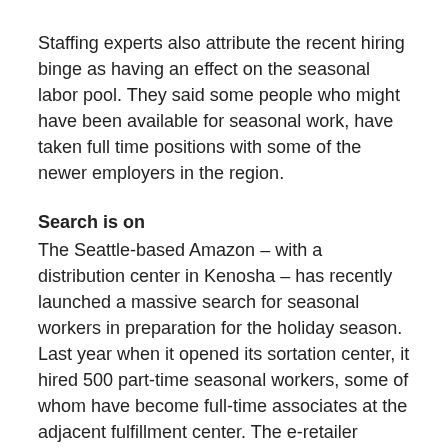Staffing experts also attribute the recent hiring binge as having an effect on the seasonal labor pool. They said some people who might have been available for seasonal work, have taken full time positions with some of the newer employers in the region.
Search is on
The Seattle-based Amazon – with a distribution center in Kenosha – has recently launched a massive search for seasonal workers in preparation for the holiday season. Last year when it opened its sortation center, it hired 500 part-time seasonal workers, some of whom have become full-time associates at the adjacent fulfillment center. The e-retailer opened its fulfillment center in June staffing it with 1,000.
Now with 2,000 full-time employees, Amazon will host an official open house Wednesday. Though it has bulked up its staff, it still is seeking part-time, seasonal associates to